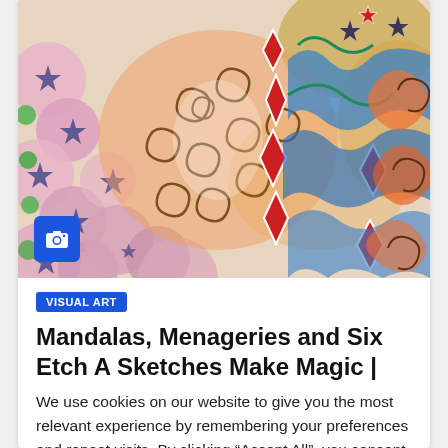[Figure (illustration): Colorful mandala artwork photograph with swirling patterns, pink flowers, stars, red diamonds, orange spirals, and blue/teal waves. A blue camera icon badge is in the lower-left corner of the image.]
VISUAL ART
Mandalas, Menageries and Six Etch A Sketches Make Magic |
We use cookies on our website to give you the most relevant experience by remembering your preferences and repeat visits. By clicking “Accept All”, you consent to the use of ALL the cookies. However, you may visit “Cookie Settings” to